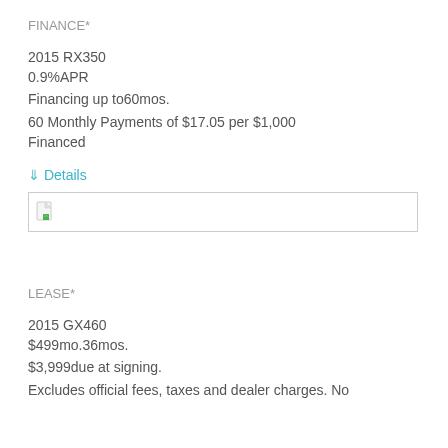FINANCE*
2015 RX350
0.9%APR
Financing up to60mos.
60 Monthly Payments of $17.05 per $1,000 Financed
⇓ Details
[Figure (other): Broken image placeholder showing a small document icon with a green corner, inside a rectangular bordered box]
LEASE*
2015 GX460
$499mo.36mos.
$3,999due at signing.
Excludes official fees, taxes and dealer charges. No